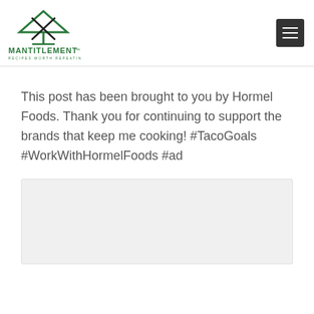MANTITLEMENT - RECIPES WORTH REPEATING
This post has been brought to you by Hormel Foods. Thank you for continuing to support the brands that keep me cooking! #TacoGoals #WorkWithHormelFoods #ad
[Figure (photo): Light gray image placeholder area]